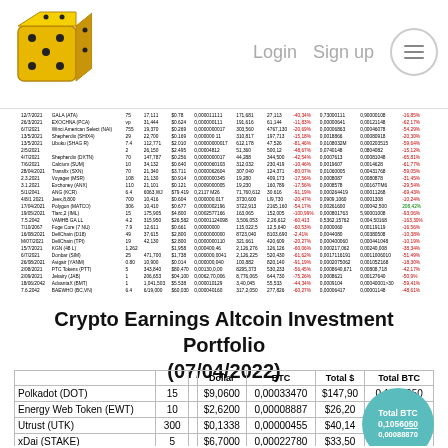Login  Sign up  [menu]
[Figure (logo): Gold dice logo]
| Date | Name | # | ... | Dollar | BTC | Total $ | ... | Change% | ... | Total BTC |
| --- | --- | --- | --- | --- | --- | --- | --- | --- | --- | --- |
| various crypto rows — partially visible at top of page |
Crypto Earnings Altcoin Investment Portfolio (07/04/2022)
|  |  |  | Dollar | BTC | Total $ | Total BTC |
| --- | --- | --- | --- | --- | --- | --- |
| Polkadot (DOT) | 15 |  | $9,0600 | 0,00033470 | $147,90 | 0,1056050 |
| Energy Web Token (EWT) | 10 |  | $2,6200 | 0,00008887 | $26,20 | 0,00088870 |
| Utrust (UTK) | 300 |  | $0,1338 | 0,00000455 | $40,14 | 0,00136500 |
| xDai (STAKE) | 5 |  | $6,7000 | 0,00022780 | $33,50 | 0,00113900 |
| OriginTrail (TRAC) | 250 |  | $0,2984 | 0,00001010 | $74,60 | 0,00252500 |
| SelfKey (KEY) | 6500 |  | $0,0033 | 0,00000011 | $21,61 | 0,00073320 |
| Parsiq (PRQ) | 250 |  | $0,1278 | 0,00000434 | $31,95 | 0,00108550 |
| ... | 450 |  | $0,1571 | 0,00000571 | $70,97 | 0,00257010 |